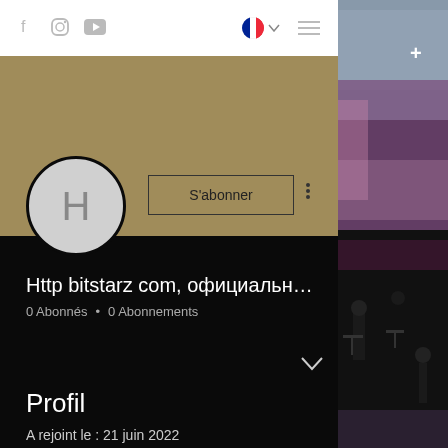Navigation bar with social icons (Facebook, Instagram, YouTube), French flag language selector, and hamburger menu
[Figure (screenshot): Gold/tan banner header background]
[Figure (illustration): Circular avatar with letter H on grey background]
S'abonner
Http bitstarz com, официальны...
0 Abonnés • 0 Abonnements
Profil
A rejoint le : 21 juin 2022
[Figure (photo): Concert/orchestra scene with musicians on stage, purple lighting, visible music stands and performers in formal attire]